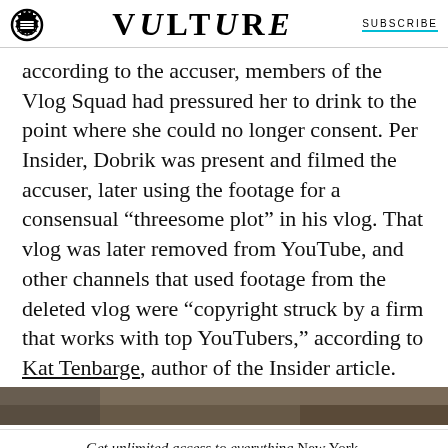VULTURE | SUBSCRIBE
according to the accuser, members of the Vlog Squad had pressured her to drink to the point where she could no longer consent. Per Insider, Dobrik was present and filmed the accuser, later using the footage for a consensual “threesome plot” in his vlog. That vlog was later removed from YouTube, and other channels that used footage from the deleted vlog were “copyright struck by a firm that works with top YouTubers,” according to Kat Tenbarge, author of the Insider article.
[Figure (photo): Partial image strip at bottom of article content area]
Get unlimited access to everything New York.
START YOUR TRIAL TODAY ➡️